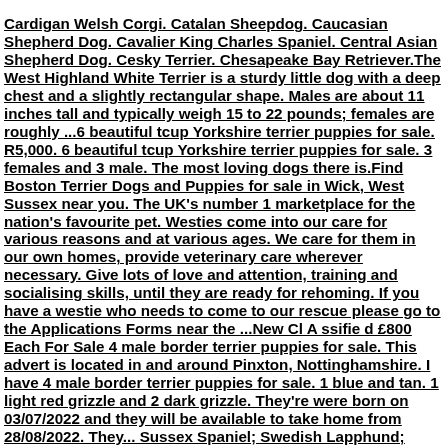Cardigan Welsh Corgi. Catalan Sheepdog. Caucasian Shepherd Dog. Cavalier King Charles Spaniel. Central Asian Shepherd Dog. Cesky Terrier. Chesapeake Bay Retriever.The West Highland White Terrier is a sturdy little dog with a deep chest and a slightly rectangular shape. Males are about 11 inches tall and typically weigh 15 to 22 pounds; females are roughly ...6 beautiful tcup Yorkshire terrier puppies for sale. R5,000. 6 beautiful tcup Yorkshire terrier puppies for sale. 3 females and 3 male. The most loving dogs there is.Find Boston Terrier Dogs and Puppies for sale in Wick, West Sussex near you. The UK's number 1 marketplace for the nation's favourite pet. Westies come into our care for various reasons and at various ages. We care for them in our own homes, provide veterinary care wherever necessary. Give lots of love and attention, training and socialising skills, until they are ready for rehoming. If you have a westie who needs to come to our rescue please go to the Applications Forms near the ...New Cl A ssifie d £800 Each For Sale 4 male border terrier puppies for sale. This advert is located in and around Pinxton, Nottinghamshire. I have 4 male border terrier puppies for sale. 1 blue and tan. 1 light red grizzle and 2 dark grizzle. They're were born on 03/07/2022 and they will be available to take home from 28/08/2022. They... Sussex Spaniel; Swedish Lapphund; Swedish Vallhund; ... West highland white terrier puppies for sale. West Highland White ... Dog Bichon Frise